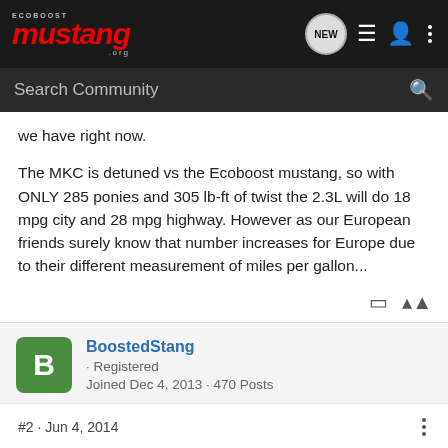Ecoboost Mustang.org — Navigation bar with logo, NEW chat, list, user, and more icons
Search Community
we have right now.
The MKC is detuned vs the Ecoboost mustang, so with ONLY 285 ponies and 305 lb-ft of twist the 2.3L will do 18 mpg city and 28 mpg highway. However as our European friends surely know that number increases for Europe due to their different measurement of miles per gallon...
BoostedStang · Registered
Joined Dec 4, 2013 · 470 Posts
#2 · Jun 4, 2014